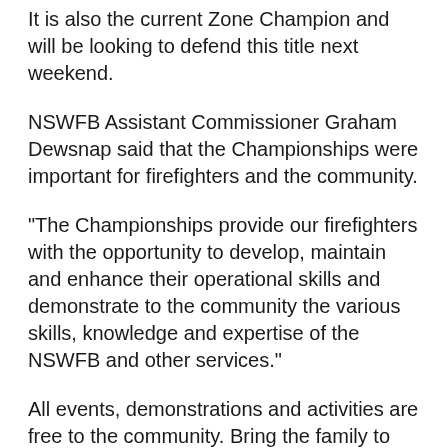It is also the current Zone Champion and will be looking to defend this title next weekend.
NSWFB Assistant Commissioner Graham Dewsnap said that the Championships were important for firefighters and the community.
"The Championships provide our firefighters with the opportunity to develop, maintain and enhance their operational skills and demonstrate to the community the various skills, knowledge and expertise of the NSWFB and other services."
All events, demonstrations and activities are free to the community. Bring the family to support your local firefighters and take part in a great community event.